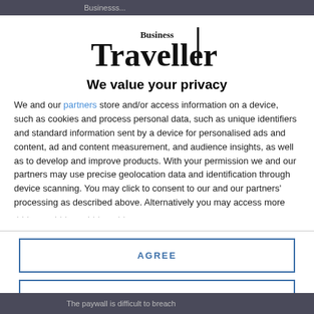Businesss...
[Figure (logo): Business Traveller magazine logo with bold serif font]
We value your privacy
We and our partners store and/or access information on a device, such as cookies and process personal data, such as unique identifiers and standard information sent by a device for personalised ads and content, ad and content measurement, and audience insights, as well as to develop and improve products. With your permission we and our partners may use precise geolocation data and identification through device scanning. You may click to consent to our and our partners' processing as described above. Alternatively you may access more
AGREE
MORE OPTIONS
The paywall is difficult to breach